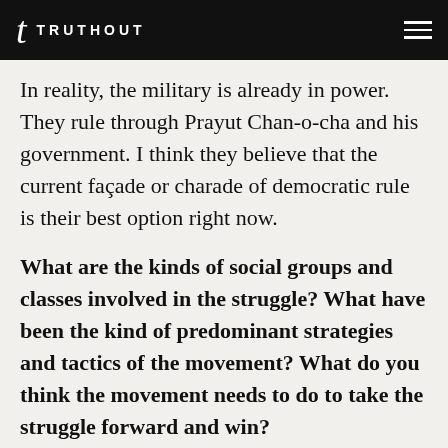TRUTHOUT
In reality, the military is already in power. They rule through Prayut Chan-o-cha and his government. I think they believe that the current façade or charade of democratic rule is their best option right now.
What are the kinds of social groups and classes involved in the struggle? What have been the kind of predominant strategies and tactics of the movement? What do you think the movement needs to do to take the struggle forward and win?